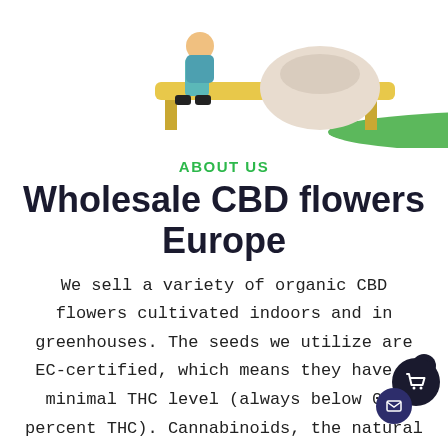[Figure (illustration): Illustration of a person sitting on a yellow bench outdoors with a large bag beside them, on a green oval ground.]
ABOUT US
Wholesale CBD flowers Europe
We sell a variety of organic CBD flowers cultivated indoors and in greenhouses. The seeds we utilize are EC-certified, which means they have a minimal THC level (always below 0.2 percent THC). Cannabinoids, the natural substances present in Cannabis sativa plants, are non-psychoactive. This indicates that it does not provide a 'high' sensation. CBD flowers are